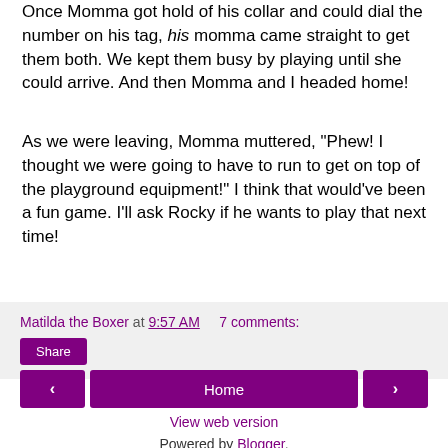Once Momma got hold of his collar and could dial the number on his tag, his momma came straight to get them both. We kept them busy by playing until she could arrive. And then Momma and I headed home!
As we were leaving, Momma muttered, "Phew! I thought we were going to have to run to get on top of the playground equipment!" I think that would've been a fun game. I'll ask Rocky if he wants to play that next time!
Matilda the Boxer at 9:57 AM   7 comments:  Share
< Home >  View web version  Powered by Blogger.